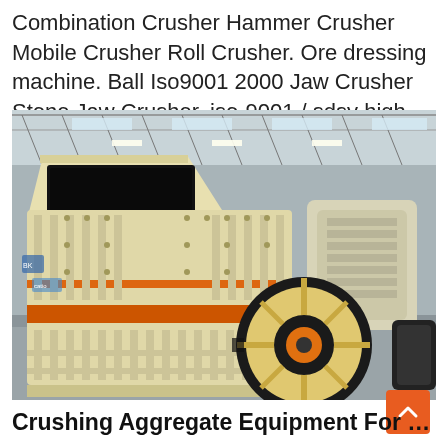Combination Crusher Hammer Crusher Mobile Crusher Roll Crusher. Ore dressing machine. Ball Iso9001 2000 Jaw Crusher Stone Jaw Crusher. iso-9001 / sdsy high...
[Figure (photo): Large industrial impact/hammer crusher machine in a factory warehouse setting. The machine is painted cream/beige with orange accent bands, featuring a large black rectangular feed opening at top-left, a ribbed frame structure, and a large flywheel with rubber belt drive on the right side. Another similar machine is visible in the background. The factory has a steel truss roof.]
Crushing Aggregate Equipment For Sale: 6700...